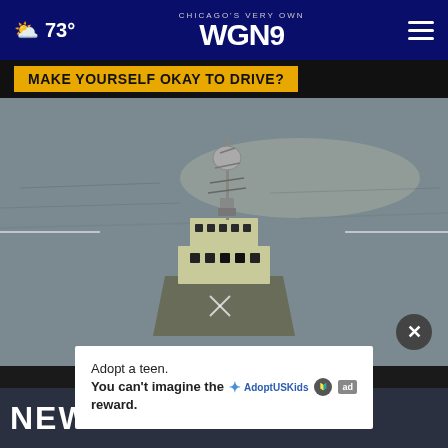73° CHICAGO'S VERY OWN WGN9
MAKE YOURSELF OKAY TO DRIVE?
[Figure (screenshot): Aerial or video footage view of a coast guard or naval vessel on open water, shown from above/front. The ship has a white superstructure with antenna mast, viewed from an aircraft targeting overlay perspective.]
Adopt a teen. You can't imagine the reward.
NEWS